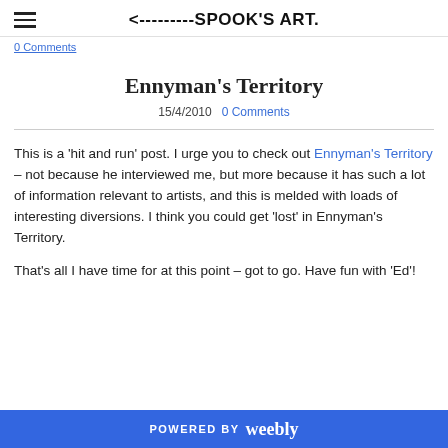<---------SPOOK'S ART.
0 Comments
Ennyman's Territory
15/4/2010   0 Comments
This is a 'hit and run' post. I urge you to check out Ennyman's Territory – not because he interviewed me, but more because it has such a lot of information relevant to artists, and this is melded with loads of interesting diversions. I think you could get 'lost' in Ennyman's Territory.
That's all I have time for at this point – got to go. Have fun with 'Ed'!
POWERED BY weebly